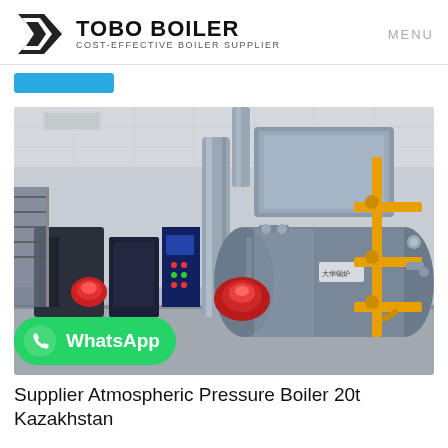TOBO BOILER — COST-EFFECTIVE BOILER SUPPLIER — MENU
[Figure (photo): Industrial boiler room with two large horizontal steam boilers with red burners, a control panel, yellow gas piping, and insulated ductwork in a gray industrial facility. WhatsApp contact button overlaid at bottom-left.]
Supplier Atmospheric Pressure Boiler 20t Kazakhstan